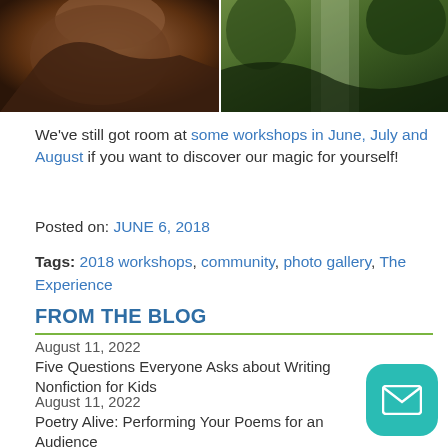[Figure (photo): Two photos side by side: left shows a person with brown hair, right shows a green wooded path/road]
We've still got room at some workshops in June, July and August if you want to discover our magic for yourself!
Posted on: JUNE 6, 2018
Tags: 2018 workshops, community, photo gallery, The Experience
FROM THE BLOG
August 11, 2022
Five Questions Everyone Asks about Writing Nonfiction for Kids
August 11, 2022
Poetry Alive: Performing Your Poems for an Audience